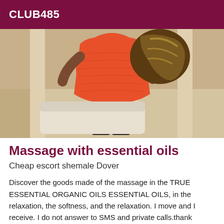CLUB485
[Figure (photo): A person wearing a red/orange dress photographed from behind, with braided/highlighted hair, standing indoors near a door and white furniture.]
Massage with essential oils
Cheap escort shemale Dover
Discover the goods made of the massage in the TRUE ESSENTIAL ORGANIC OILS ESSENTIAL OILS, in the relaxation, the softness, and the relaxation. I move and I receive. I do not answer to SMS and private calls.thank